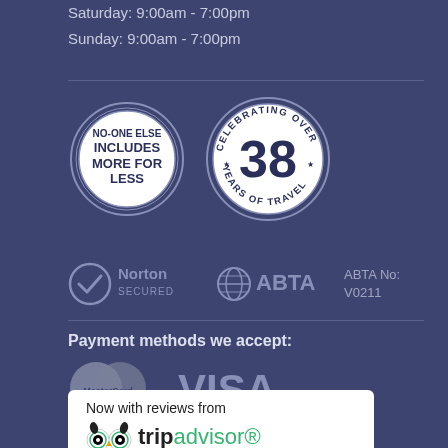Saturday: 9:00am - 7:00pm
Sunday: 9:00am - 7:00pm
[Figure (logo): NO-ONE ELSE INCLUDES MORE FOR LESS circular badge stamp]
[Figure (logo): Celebrating Over 38 Years of Travel circular badge]
[Figure (logo): Norton Secured logo]
[Figure (logo): ABTA logo with ABTA No: V0211]
Payment methods we accept:
[Figure (logo): MasterCard logo]
[Figure (logo): VISA logo]
[Figure (logo): TripAdvisor reviews badge - Now with reviews from tripadvisor]